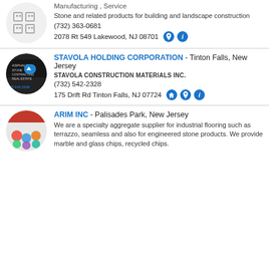Manufacturing , Service
Stone and related products for building and landscape construction
(732) 363-0681
2078 Rt 549 Lakewood, NJ 08701
STAVOLA HOLDING CORPORATION - Tinton Falls, New Jersey
STAVOLA CONSTRUCTION MATERIALS INC.
(732) 542-2328
175 Drift Rd Tinton Falls, NJ 07724
ARIM INC - Palisades Park, New Jersey
We are a specialty aggregate supplier for industrial flooring such as terrazzo, seamless and also for engineered stone products. We provide marble and glass chips, recycled chips.